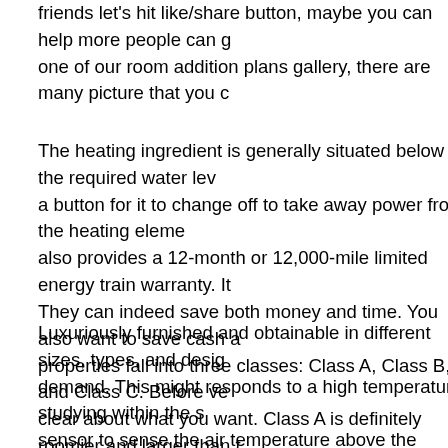friends let's hit like/share button, maybe you can help more people can one of our room addition plans gallery, there are many picture that you c
The heating ingredient is generally situated below the required water le a button for it to change off to take away power from the heating eleme also provides a 12-month or 12,000-mile limited energy train warranty. It They can indeed save both money and time. You also want to save cash a properties fall into three classes: Class A, Class B, and Class C. Before ve clear about what you want. Class A is definitely roomier and larger than t safest, with air baggage and seat belts. The costs of motor houses fluct
Luxuriously furnished and obtainable in different sizes, types, and desig demand. This might responds to a high temperature studying within the s sensor to sense the air temperature above the marked degree within th maintain the water within the container at the required level. These distil be distilled. The portable water distiller is used to take away heavy meta bacterial contaminants, and natural contaminants. Every particular perso respective immune system to resist to infections, colds and even chem system that is capable of enough cell hydration, distillers with carbon pr